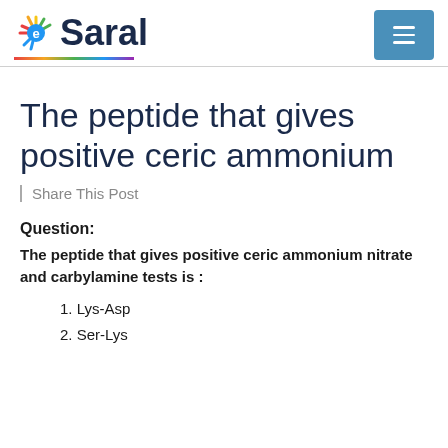[Figure (logo): eSaral logo with colorful sunburst icon and multicolor underline]
The peptide that gives positive ceric ammonium
| Share This Post
Question:
The peptide that gives positive ceric ammonium nitrate and carbylamine tests is :
1. Lys-Asp
2. Ser-Lys